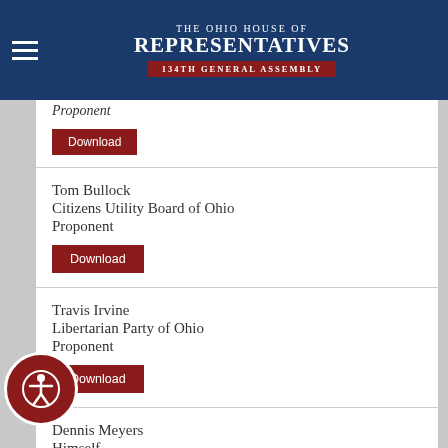The Ohio House of Representatives 134th General Assembly
Tom Bullock
Citizens Utility Board of Ohio
Proponent
Download
Travis Irvine
Libertarian Party of Ohio
Proponent
Download
Dennis Meyers
Himself
Proponent
Download